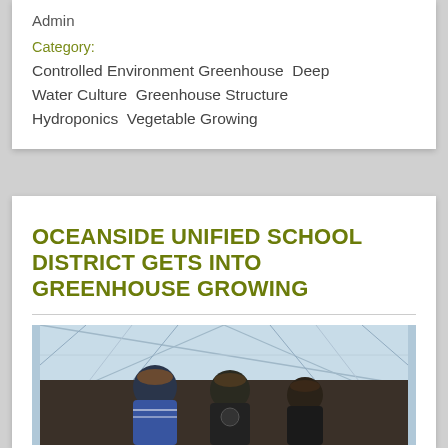Admin
Category:
Controlled Environment Greenhouse  Deep Water Culture  Greenhouse Structure  Hydroponics  Vegetable Growing
OCEANSIDE UNIFIED SCHOOL DISTRICT GETS INTO GREENHOUSE GROWING
[Figure (photo): Three boys looking down at something inside a greenhouse with a translucent roof structure visible overhead]